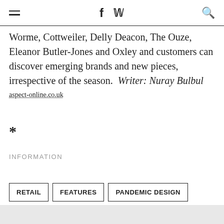≡  f  𝕏  🔍
Worme, Cottweiler, Delly Deacon, The Ouze, Eleanor Butler-Jones and Oxley and customers can discover emerging brands and new pieces, irrespective of the season.  Writer: Nuray Bulbul
aspect-online.co.uk
*
INFORMATION
RETAIL
FEATURES
PANDEMIC DESIGN